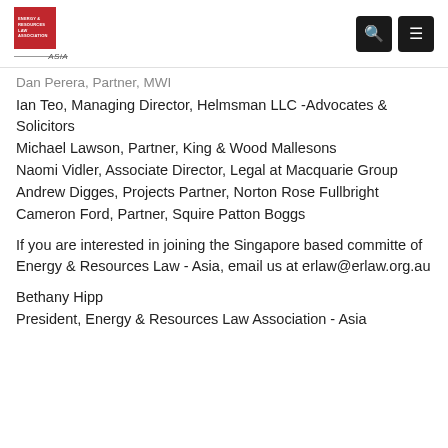Energy & Resources Law Association - Asia [logo with navigation icons]
Dan Perera, Partner, MWI
Ian Teo, Managing Director, Helmsman LLC -Advocates & Solicitors
Michael Lawson, Partner, King & Wood Mallesons
Naomi Vidler, Associate Director, Legal at Macquarie Group
Andrew Digges, Projects Partner, Norton Rose Fullbright
Cameron Ford, Partner, Squire Patton Boggs
If you are interested in joining the Singapore based committe of Energy & Resources Law - Asia, email us at erlaw@erlaw.org.au
Bethany Hipp
President, Energy & Resources Law Association - Asia